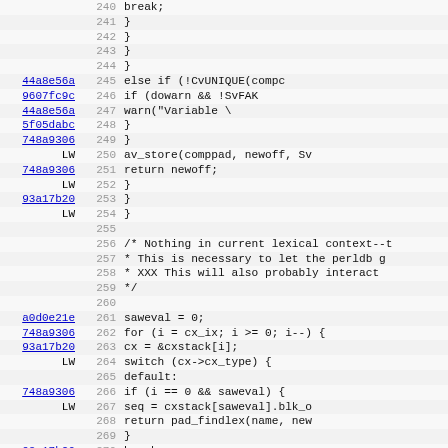Source code listing lines 240-272 with git hashes and line numbers
240: break;
241:   }
242:  }
243: }
244: }
44a8e56a 245: else if (!CvUNIQUE(compc
9607fc9c 246: if (dowarn && !SvFAK
44a8e56a 247: warn("Variable \
5f05dabc 248: }
748a9306 249: }
LW       250: av_store(comppad, newoff, Sv
748a9306 251: return newoff;
LW       252: }
93a17b20 253: }
LW       254: }
255:
256: /* Nothing in current lexical context--t
257:  * This is necessary to let the perldb g
258:  * XXX This will also probably interact
259:  */
260:
a0d0e21e 261: saweval = 0;
748a9306 262: for (i = cx_ix; i >= 0; i--) {
93a17b20 263: cx = &cxstack[i];
LW       264: switch (cx->cx_type) {
265: default:
748a9306 266: if (i == 0 && saweval) {
LW       267: seq = cxstack[saweval].blk_o
268: return pad_findlex(name, new
269: }
93a17b20 270: break;
LW       271: case CXt_EVAL:
44a... 272: ...